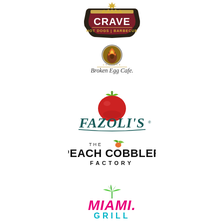[Figure (logo): Crave Hot Dogs & Barbecue restaurant logo — dark badge shape with gold wheat/lightning bolt graphic, dark red background with bold white CRAVE lettering, and 'HOT DOGS | BARBECUE' text below]
[Figure (logo): Another Broken Egg Cafe logo — circular emblem with bird and flame imagery, with 'ANOTHER' small text above 'Broken Egg Cafe.' in serif/script font]
[Figure (logo): Fazoli's restaurant logo — large red tomato with green stem above dark teal italic 'FAZOLI'S' lettering with registered trademark symbol]
[Figure (logo): The Peach Cobbler Factory logo — 'THE' small text with green leaf/peach icon, bold black 'PEACH COBBLER' large text, and 'FACTORY' spaced lettering below]
[Figure (logo): Miami Grill logo — bold stylized pink/magenta 'MIAMI.' italic lettering with green palm tree icon above, and 'GRILL' in teal/cyan bold text below]